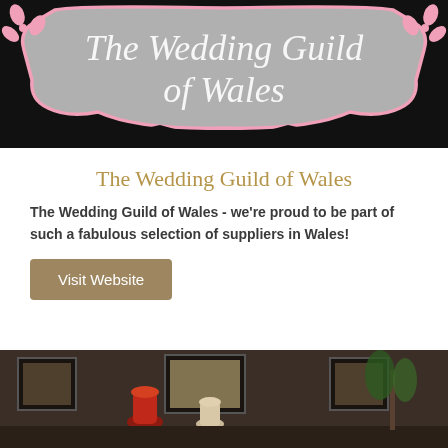[Figure (logo): The Wedding Guild of Wales logo — decorative banner with cursive white text on grey background with pink floral accents and black surround]
The Wedding Guild of Wales
The Wedding Guild of Wales - we're proud to be part of such a fabulous selection of suppliers in Wales!
Visit Website
[Figure (photo): Interior room photo showing decorative vases on a surface with framed pictures on the wall and a plant in a warm-lit setting]